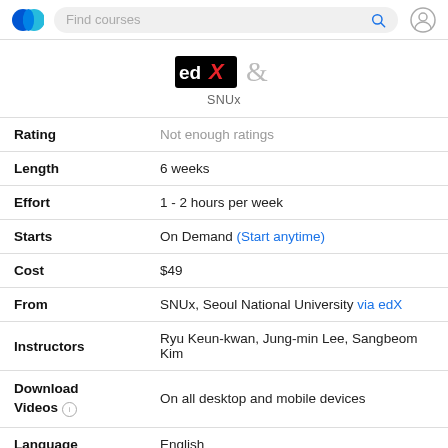Find courses
[Figure (logo): edX logo and SNUx partnership logo with ampersand]
| Field | Value |
| --- | --- |
| Rating | Not enough ratings |
| Length | 6 weeks |
| Effort | 1 - 2 hours per week |
| Starts | On Demand (Start anytime) |
| Cost | $49 |
| From | SNUx, Seoul National University via edX |
| Instructors | Ryu Keun-kwan, Jung-min Lee, Sangbeom Kim |
| Download Videos | On all desktop and mobile devices |
| Language | English |